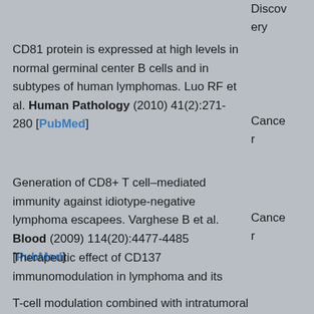Discovery
CD81 protein is expressed at high levels in normal germinal center B cells and in subtypes of human lymphomas. Luo RF et al. Human Pathology (2010) 41(2):271-280 [PubMed]
Cancer
Generation of CD8+ T cell-mediated immunity against idiotype-negative lymphoma escapees. Varghese B et al. Blood (2009) 114(20):4477-4485 [PubMed]
Cancer
Therapeutic effect of CD137 immunomodulation in lymphoma and its enhancement by Treg depletion. Houot R et al. Blood (2009) 114(16):3431-3438 [PubMed]
Cancer
T-cell modulation combined with intratumoral